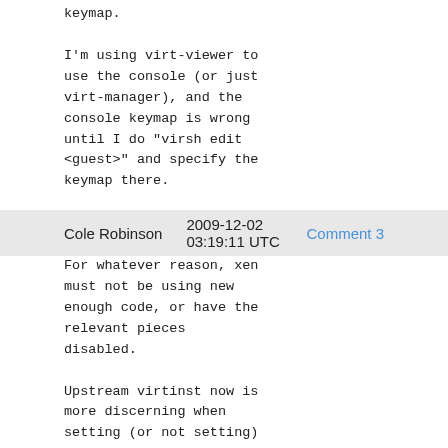keymap.

I'm using virt-viewer to use the console (or just virt-manager), and the console keymap is wrong until I do "virsh edit <guest>" and specify the keymap there.

Thoughts on that?
Cole Robinson    2009-12-02 03:19:11 UTC    Comment 3
For whatever reason, xen must not be using new enough code, or have the relevant pieces disabled.

Upstream virtinst now is more discerning when setting (or not setting) a keymap: it will only omit the keymap for sufficiently new qemu. So xen should default to